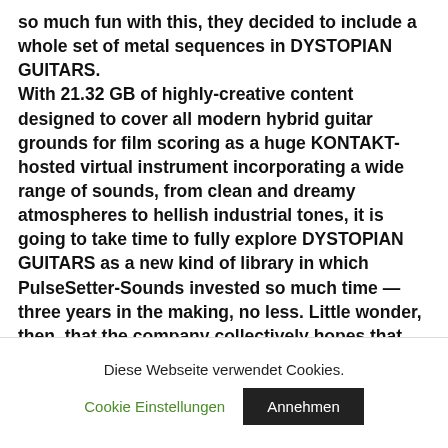so much fun with this, they decided to include a whole set of metal sequences in DYSTOPIAN GUITARS. With 21.32 GB of highly-creative content designed to cover all modern hybrid guitar grounds for film scoring as a huge KONTAKT-hosted virtual instrument incorporating a wide range of sounds, from clean and dreamy atmospheres to hellish industrial tones, it is going to take time to fully explore DYSTOPIAN GUITARS as a new kind of library in which PulseSetter-Sounds invested so much time — three years in the making, no less. Little wonder, then, that the company collectively hopes that each and every user of DYSTOPIAN GUITARS will find a permanent place for many of its inspiring instruments in their
Diese Webseite verwendet Cookies.
Cookie Einstellungen
Annehmen